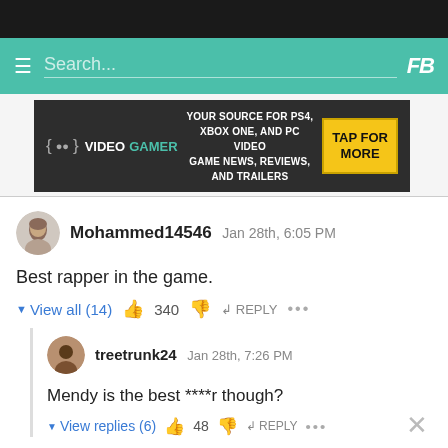[Figure (screenshot): Mobile app navigation bar with teal background, hamburger menu, search box, and stylized logo]
[Figure (screenshot): VideoGamer advertisement banner: dark background with VideoGamer logo, text 'YOUR SOURCE FOR PS4, XBOX ONE, AND PC VIDEO GAME NEWS, REVIEWS, AND TRAILERS', yellow button 'TAP FOR MORE']
Mohammed14546   Jan 28th, 6:05 PM
Best rapper in the game.
▼ View all (14)   👍 340 👎 ↩ REPLY ···
treetrunk24   Jan 28th, 7:26 PM
Mendy is the best ****r though?
▼ View replies (6)   👍 48 👎 ↩ REPLY ···